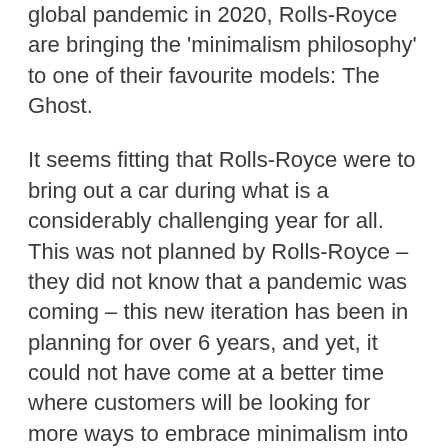global pandemic in 2020, Rolls-Royce are bringing the 'minimalism philosophy' to one of their favourite models: The Ghost.
It seems fitting that Rolls-Royce were to bring out a car during what is a considerably challenging year for all. This was not planned by Rolls-Royce – they did not know that a pandemic was coming – this new iteration has been in planning for over 6 years, and yet, it could not have come at a better time where customers will be looking for more ways to embrace minimalism into their lives.
The core idea of minimalism with The New Ghost is to 'reject superficial expressions of wealth'. It does not mean you cannot enjoy the